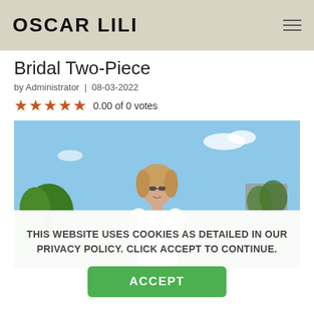OSCAR LILI
Bridal Two-Piece
by Administrator | 08-03-2022
★★★★★ 0.00 of 0 votes
[Figure (photo): Woman in white bridal two-piece outfit standing outdoors in a garden with trees and green grass, blue sky background]
THIS WEBSITE USES COOKIES AS DETAILED IN OUR PRIVACY POLICY. CLICK ACCEPT TO CONTINUE.
ACCEPT